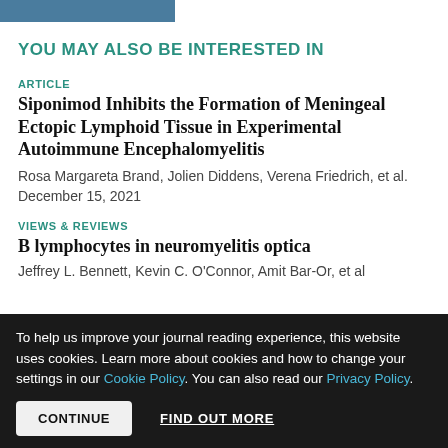[Figure (other): Blue/teal colored header bar at top left]
YOU MAY ALSO BE INTERESTED IN
ARTICLE
Siponimod Inhibits the Formation of Meningeal Ectopic Lymphoid Tissue in Experimental Autoimmune Encephalomyelitis
Rosa Margareta Brand, Jolien Diddens, Verena Friedrich, et al.
December 15, 2021
VIEWS & REVIEWS
B lymphocytes in neuromyelitis optica
Jeffrey L. Bennett, Kevin C. O'Connor, Amit Bar-Or, et al
To help us improve your journal reading experience, this website uses cookies. Learn more about cookies and how to change your settings in our Cookie Policy. You can also read our Privacy Policy.
CONTINUE    FIND OUT MORE